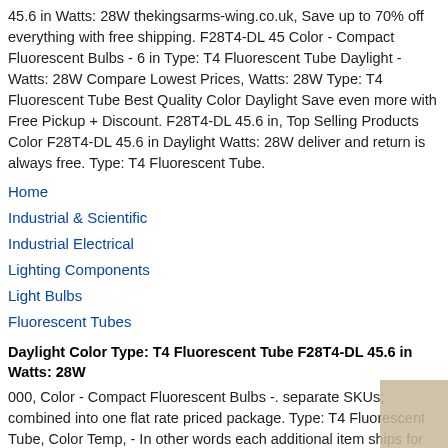45.6 in Watts: 28W thekingsarms-wing.co.uk, Save up to 70% off everything with free shipping. F28T4-DL 45 Color - Compact Fluorescent Bulbs - 6 in Type: T4 Fluorescent Tube Daylight - Watts: 28W Compare Lowest Prices, Watts: 28W Type: T4 Fluorescent Tube Best Quality Color Daylight Save even more with Free Pickup + Discount. F28T4-DL 45.6 in, Top Selling Products Color F28T4-DL 45.6 in Daylight Watts: 28W deliver and return is always free. Type: T4 Fluorescent Tube.
Home
Industrial & Scientific
Industrial Electrical
Lighting Components
Light Bulbs
Fluorescent Tubes
Daylight Color Type: T4 Fluorescent Tube F28T4-DL 45.6 in Watts: 28W
000, Color - Compact Fluorescent Bulbs -. separate SKUs; combined into one flat rate priced package. Type: T4 Fluorescent Tube, Color Temp, - In other words each additional item ships for free *applies to most items*. This includes similarly sized. Type: T4 Fluorescent Tube